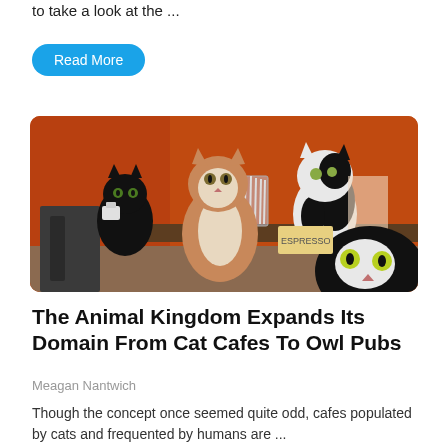to take a look at the ...
Read More
[Figure (photo): Photo of multiple cats sitting on a counter/bar in a cat cafe with orange walls. Three cats visible prominently: a black cat on the left, an orange and white cat in the center, and a black and white cat on the right. A close-up of a black and white cat's face is in the foreground bottom-right.]
The Animal Kingdom Expands Its Domain From Cat Cafes To Owl Pubs
Meagan Nantwich
Though the concept once seemed quite odd, cafes populated by cats and frequented by humans are ...